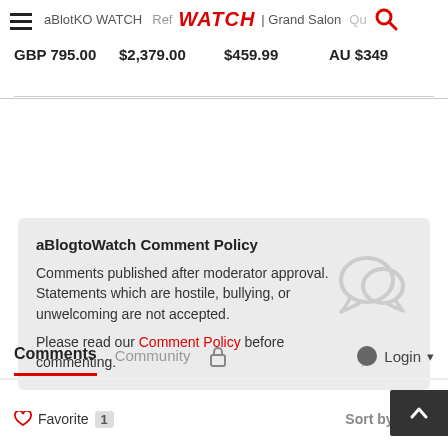aBlogtoWATCH | WATCH | Grand Salon | Qu  GBP 795.00  $2,379.00  $459.99  AU $349
aBlogtoWatch Comment Policy
Comments published after moderator approval. Statements which are hostile, bullying, or unwelcoming are not accepted.
Please read our Comment Policy before commenting.
Comments  Community  Login
Favorite  1  Sort by Newe